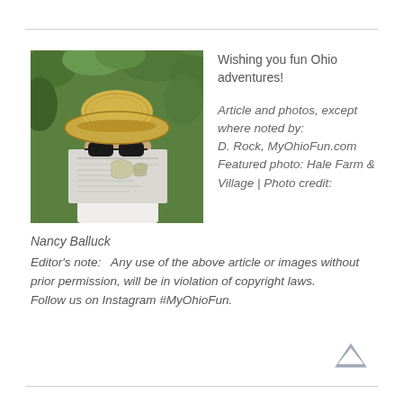[Figure (photo): Person wearing a wide-brimmed straw hat and large sunglasses, holding up a folded map or newspaper so their face is largely obscured, with green foliage in the background.]
Wishing you fun Ohio adventures!
Article and photos, except where noted by: D. Rock, MyOhioFun.com Featured photo: Hale Farm & Village | Photo credit: Nancy Balluck
Editor’s note:   Any use of the above article or images without prior permission, will be in violation of copyright laws.
Follow us on Instagram #MyOhioFun.